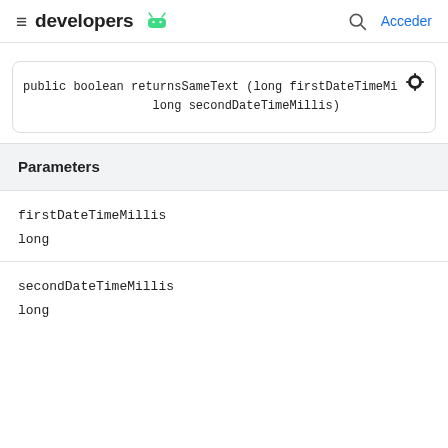developers | Acceder
Parameters
firstDateTimeMillis
long
secondDateTimeMillis
long